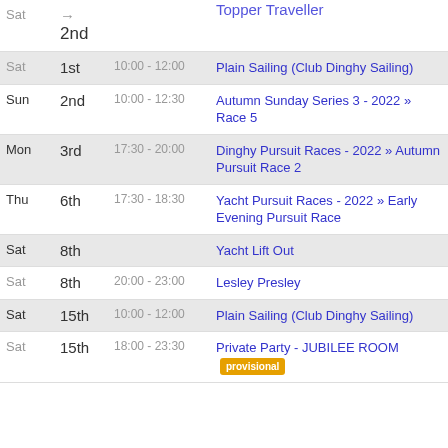| Day | Date | Time | Event |
| --- | --- | --- | --- |
| Sat | → 2nd |  | Topper Traveller |
| Sat | 1st | 10:00 - 12:00 | Plain Sailing (Club Dinghy Sailing) |
| Sun | 2nd | 10:00 - 12:30 | Autumn Sunday Series 3 - 2022 » Race 5 |
| Mon | 3rd | 17:30 - 20:00 | Dinghy Pursuit Races - 2022 » Autumn Pursuit Race 2 |
| Thu | 6th | 17:30 - 18:30 | Yacht Pursuit Races - 2022 » Early Evening Pursuit Race |
| Sat | 8th |  | Yacht Lift Out |
| Sat | 8th | 20:00 - 23:00 | Lesley Presley |
| Sat | 15th | 10:00 - 12:00 | Plain Sailing (Club Dinghy Sailing) |
| Sat | 15th | 18:00 - 23:30 | Private Party - JUBILEE ROOM [provisional] |